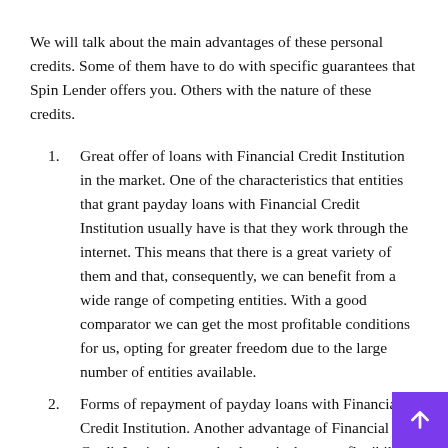We will talk about the main advantages of these personal credits. Some of them have to do with specific guarantees that Spin Lender offers you. Others with the nature of these credits.
Great offer of loans with Financial Credit Institution in the market. One of the characteristics that entities that grant payday loans with Financial Credit Institution usually have is that they work through the internet. This means that there is a great variety of them and that, consequently, we can benefit from a wide range of competing entities. With a good comparator we can get the most profitable conditions for us, opting for greater freedom due to the large number of entities available.
Forms of repayment of payday loans with Financial Credit Institution. Another advantage of Financial Credit Institution payday loans is the great flexibility they offer, at least from Spin Lender you can offer a type of credit...